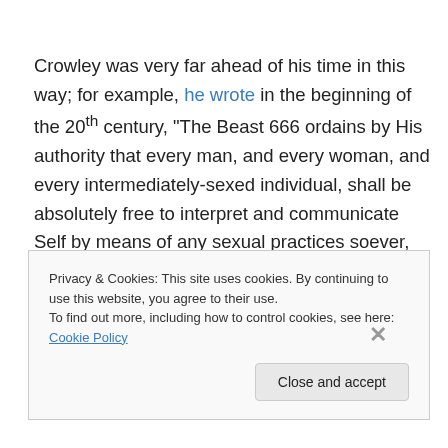Crowley was very far ahead of his time in this way; for example, he wrote in the beginning of the 20th century, "The Beast 666 ordains by His authority that every man, and every woman, and every intermediately-sexed individual, shall be absolutely free to interpret and communicate Self by means of any sexual practices soever, whether direct or indirect, rational or symbolic, physiologically, legally, ethically, or religiously approved or no, provided only that all parties to any act are fully aware
Privacy & Cookies: This site uses cookies. By continuing to use this website, you agree to their use. To find out more, including how to control cookies, see here: Cookie Policy